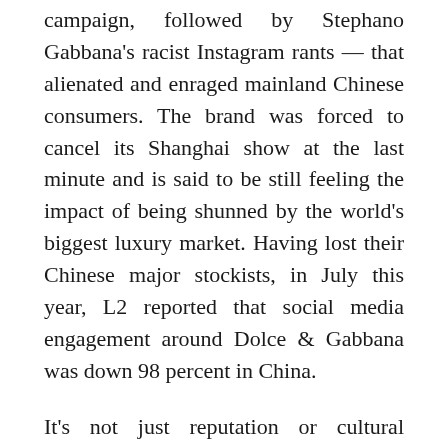campaign, followed by Stephano Gabbana's racist Instagram rants — that alienated and enraged mainland Chinese consumers. The brand was forced to cancel its Shanghai show at the last minute and is said to be still feeling the impact of being shunned by the world's biggest luxury market. Having lost their Chinese major stockists, in July this year, L2 reported that social media engagement around Dolce & Gabbana was down 98 percent in China.
It's not just reputation or cultural credibility on the line — brands stand to lose millions in potential profit by failing to do their due diligence as increasingly unforgiving customers vote with their wallets. "Nowadays, you can't control fully your message as luxury is an ecosystem in which the consumer has a say," says Mario Ortelli, Managing Partner of Ortelli&Co.; "Today's luxury consumer is more sensitive about culture, society and the environment